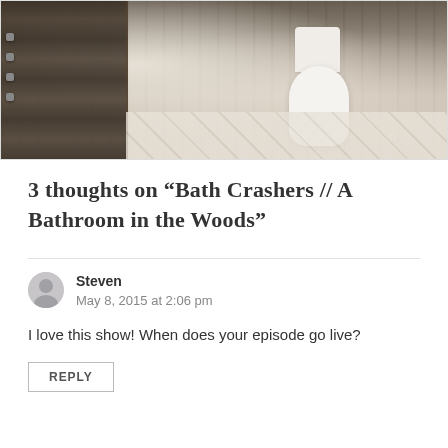[Figure (photo): Photo of a rustic bathroom interior with dark wood panels on the left, a white toilet, tile floor, and a window with natural light on the right.]
3 thoughts on “Bath Crashers // A Bathroom in the Woods”
Steven
May 8, 2015 at 2:06 pm
I love this show! When does your episode go live?
REPLY